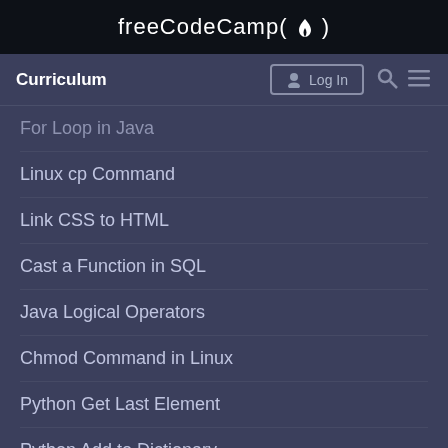freeCodeCamp(🔥)
Curriculum
For Loop in Java
Linux cp Command
Link CSS to HTML
Cast a Function in SQL
Java Logical Operators
Chmod Command in Linux
Python Get Last Element
Python Add to Dictionary
Declare an Array in Java
Get Current Time in Python
Change Div Background Color